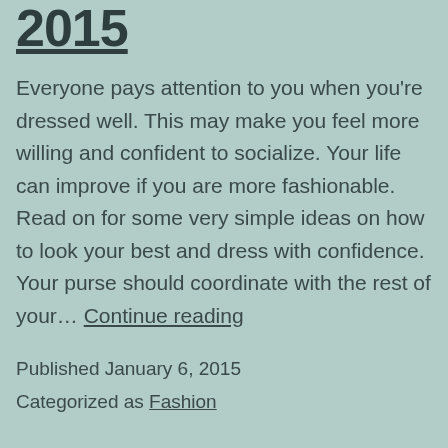2015
Everyone pays attention to you when you're dressed well. This may make you feel more willing and confident to socialize. Your life can improve if you are more fashionable. Read on for some very simple ideas on how to look your best and dress with confidence. Your purse should coordinate with the rest of your… Continue reading
Published January 6, 2015
Categorized as Fashion